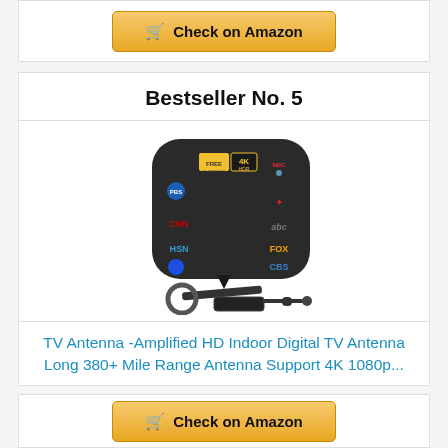[Figure (other): Check on Amazon button at top]
Bestseller No. 5
[Figure (photo): TV Antenna product photo showing a black rounded rectangular flat antenna with channel logos (NBC, PBS, CNN, HSN, Fox, CBS, ABC, Univision) and FREE 4K HDR label, with coaxial cable and amplifier]
TV Antenna -Amplified HD Indoor Digital TV Antenna Long 380+ Mile Range Antenna Support 4K 1080p...
[Figure (other): Check on Amazon button at bottom]